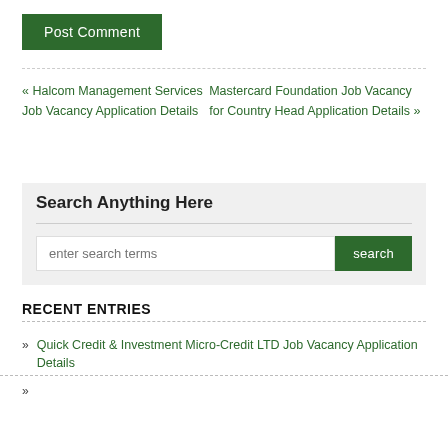Post Comment
« Halcom Management Services Job Vacancy Application Details
Mastercard Foundation Job Vacancy for Country Head Application Details »
Search Anything Here
enter search terms  search
RECENT ENTRIES
Quick Credit & Investment Micro-Credit LTD Job Vacancy Application Details